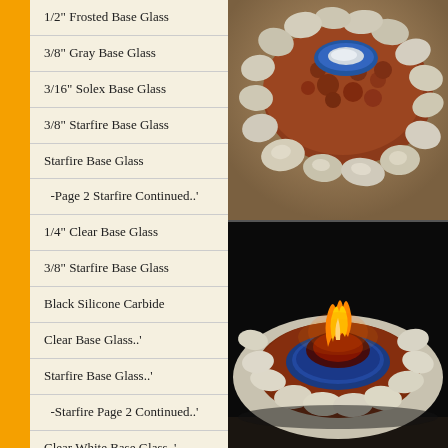1/2" Frosted Base Glass
3/8" Gray Base Glass
3/16" Solex Base Glass
3/8" Starfire Base Glass
Starfire Base Glass
-Page 2 Starfire Continued..'
1/4" Clear Base Glass
3/8" Starfire Base Glass
Black Silicone Carbide
Clear Base Glass..'
Starfire Base Glass..'
-Starfire Page 2 Continued..'
Clear White Base Glass..'
[Figure (photo): Outdoor stone fire pit viewed from above with colored decorative glass — blue and white glass in center, surrounded by reddish-brown lava rock, edged with large natural white/beige river stones]
[Figure (photo): Night-time outdoor stone fire pit with active flames in center, surrounded by blue glass ring, then red/brown lava rock, edged with white round river stones. Dark background.]